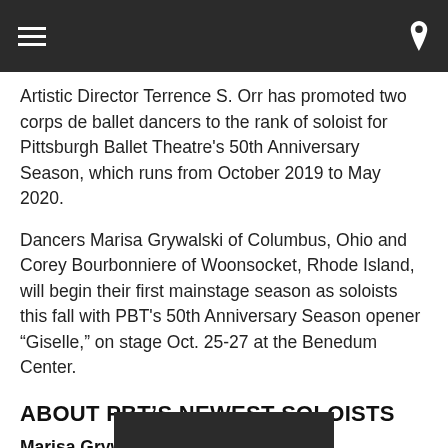Posted on [date] by [author]
Artistic Director Terrence S. Orr has promoted two corps de ballet dancers to the rank of soloist for Pittsburgh Ballet Theatre's 50th Anniversary Season, which runs from October 2019 to May 2020.
Dancers Marisa Grywalski of Columbus, Ohio and Corey Bourbonniere of Woonsocket, Rhode Island, will begin their first mainstage season as soloists this fall with PBT's 50th Anniversary Season opener “Giselle,” on stage Oct. 25-27 at the Benedum Center.
ABOUT PBT’S NEWEST SOLOISTS
Marisa Grywalski
[Figure (photo): Partial photo at bottom of page, person partially visible, dark background strip]